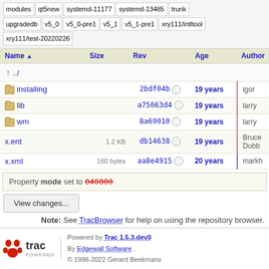modules | qt5new | systemd-11177 | systemd-13485 | trunk | upgradedb | v5_0 | v5_0-pre1 | v5_1 | v5_1-pre1 | xry111/intltool | xry111/test-20220226
| Name | Size | Rev | Age | Author |
| --- | --- | --- | --- | --- |
| ../ |  |  |  |  |
| installing |  | 2bdf04b | 19 years | igor |
| lib |  | a75063d4 | 19 years | larry |
| wm |  | 8a69010 | 19 years | larry |
| x.ent | 1.2 KB | db14638 | 19 years | Bruce Dubb |
| x.xml | 160 bytes | aa8e4915 | 20 years | markh |
Property mode set to 040000
View changes...
Note: See TracBrowser for help on using the repository browser.
Powered by Trac 1.5.3.dev0 By Edgewall Software . © 1998-2022 Gerard Beekmans